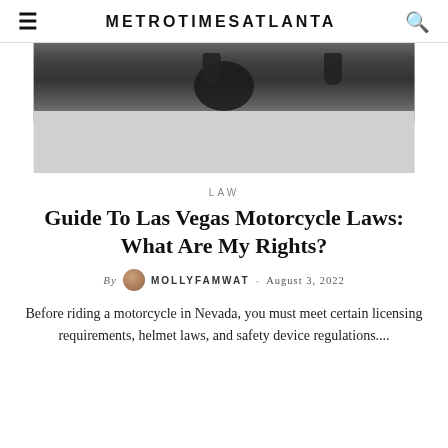METROTIMESATLANTA
[Figure (photo): Motorcycle on a road, lower portion showing front wheel and rider boots in black and white tones, with gray placeholder area below]
LAW
Guide To Las Vegas Motorcycle Laws: What Are My Rights?
By MOLLYFAMWAT · August 3, 2022
Before riding a motorcycle in Nevada, you must meet certain licensing requirements, helmet laws, and safety device regulations....